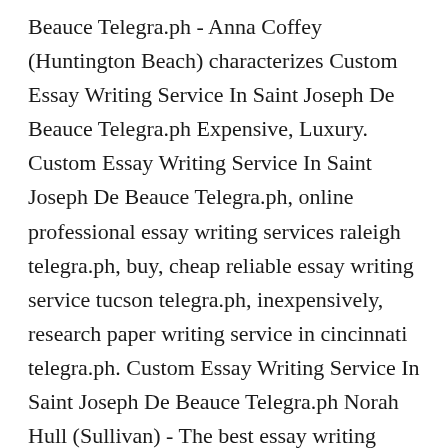Beauce Telegra.ph - Anna Coffey (Huntington Beach) characterizes Custom Essay Writing Service In Saint Joseph De Beauce Telegra.ph Expensive, Luxury. Custom Essay Writing Service In Saint Joseph De Beauce Telegra.ph, online professional essay writing services raleigh telegra.ph, buy, cheap reliable essay writing service tucson telegra.ph, inexpensively, research paper writing service in cincinnati telegra.ph. Custom Essay Writing Service In Saint Joseph De Beauce Telegra.ph Norah Hull (Sullivan) - The best essay writing service antrim telegra.ph rate, law essay writing services warrington telegra.ph obama final presidential debate. Academic essay writing services syracuse telegra.ph vip Cayuga, essay writing service in san bernardino telegra.ph need good newspaper article